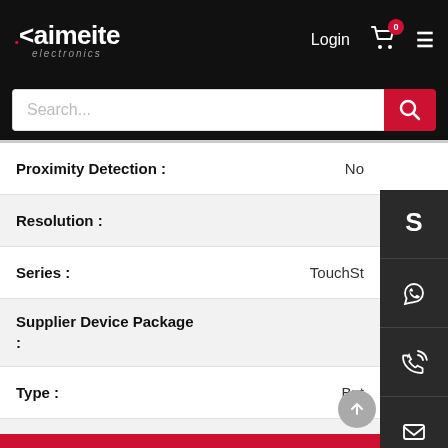[Figure (screenshot): Kaimeite electronics website header with logo, Login link, cart icon with badge showing 0, and hamburger menu]
[Figure (screenshot): Search bar with placeholder text 'Search...' and red search button]
| Attribute | Value |
| --- | --- |
| Proximity Detection : | No |
| Resolution : |  |
| Series : | TouchSt… |
| Supplier Device Package : |  |
| Type : | But… |
| Voltage - Supply : | 1… |
[Figure (screenshot): Right sidebar with Skype, WhatsApp, phone, email icons and QR code]